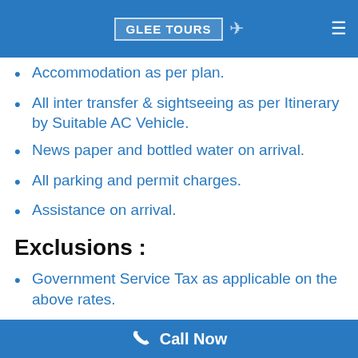GLEE TOURS
Accommodation as per plan.
All inter transfer & sightseeing as per Itinerary by Suitable AC Vehicle.
News paper and bottled water on arrival.
All parking and permit charges.
Assistance on arrival.
Exclusions :
Government Service Tax as applicable on the above rates.
Personal expenses on items such as
Call Now